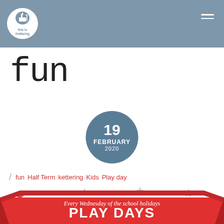This is Kettering
fun
19 FEBRUARY 2020
fun  Half Term  kettering  Kids  Play day
[Figure (infographic): Play Days on Kettering Market Place promotional banner — red ribbon banner with text 'Every Wednesday of the school holidays PLAY DAYS on Kettering Market Place', decorated with colorful stars]